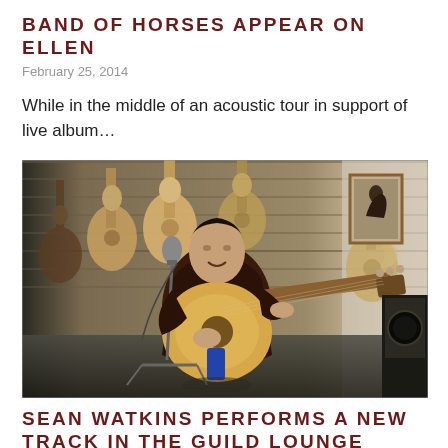BAND OF HORSES APPEAR ON ELLEN
February 25, 2014
While in the middle of an acoustic tour in support of live album…
[Figure (photo): Man playing acoustic guitar on stage with microphone, surrounded by acoustic guitars hanging on a wooden wall in the background, with a framed photo on the right wall.]
SEAN WATKINS PERFORMS A NEW TRACK IN THE GUILD LOUNGE
February 20, 2014